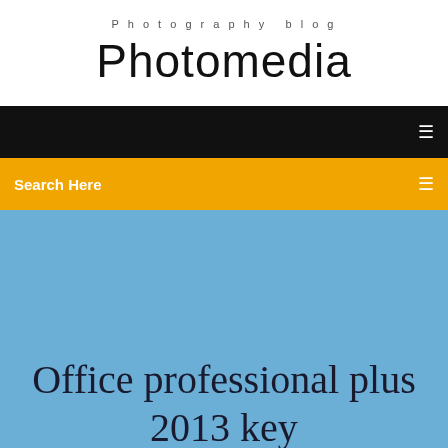Photography blog
Photomedia
Search Here
Office professional plus 2013 key